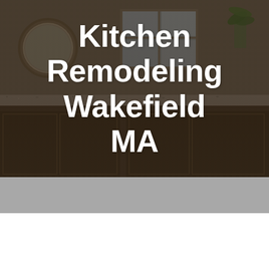[Figure (photo): Kitchen interior photo showing a dark wood counter/island with a speckled granite countertop, a round mirror on the left, a window with light in the background, and a plant on the right. White bold text overlaid reads 'Kitchen Remodeling Wakefield MA'.]
Kitchen Remodeling Wakefield MA
Kitchen Remodeling Wakefield MA – Kitchen Remodel